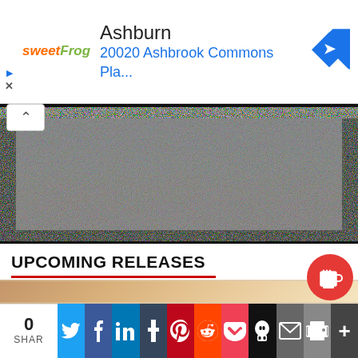[Figure (infographic): Advertisement banner for sweetFrog frozen yogurt in Ashburn at 20020 Ashbrook Commons Pla... with a blue navigation diamond icon]
[Figure (photo): TV screen showing static/noise pattern on a dark background]
UPCOMING RELEASES
[Figure (photo): Record store bins filled with vinyl records, showing divider tabs including AROMATRADING, ARGENT, PAUL ANKA labels]
0 SHAR | Twitter | Facebook | LinkedIn | Tumblr | Pinterest | Reddit | Pocket | Skull | Email | Print | More